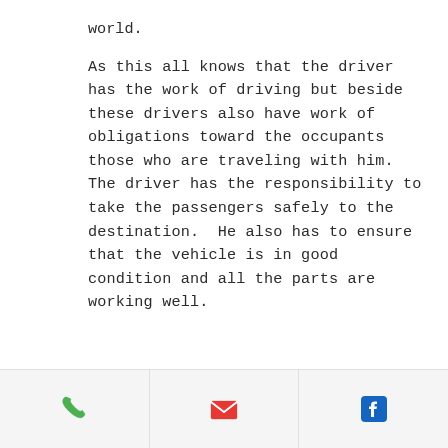world.
As this all knows that the driver has the work of driving but beside these drivers also have work of obligations toward the occupants those who are traveling with him. The driver has the responsibility to take the passengers safely to the destination.  He also has to ensure that the vehicle is in good condition and all the parts are working well.
Phone | Email | Facebook icons